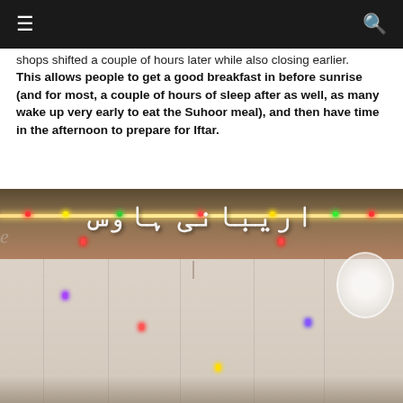[navigation bar with menu and search icons]
shops shifted a couple of hours later while also closing earlier. This allows people to get a good breakfast in before sunrise (and for most, a couple of hours of sleep after as well, as many wake up very early to eat the Suhoor meal), and then have time in the afternoon to prepare for Iftar.
[Figure (photo): Interior photo of a decorated restaurant or event space showing a backlit sign with Arabic calligraphy text, colorful fairy lights (red, green, yellow, blue), and white draped curtain/fabric canopy below the sign. A circular decorative element is visible on the right side.]